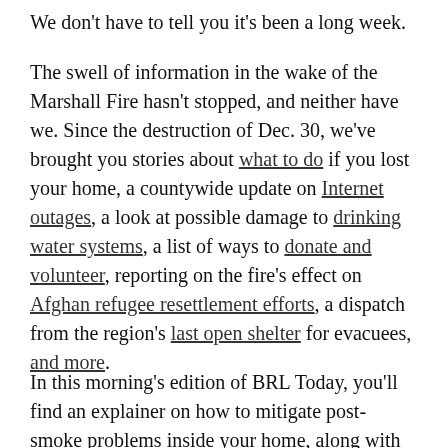We don't have to tell you it's been a long week.
The swell of information in the wake of the Marshall Fire hasn't stopped, and neither have we. Since the destruction of Dec. 30, we've brought you stories about what to do if you lost your home, a countywide update on Internet outages, a look at possible damage to drinking water systems, a list of ways to donate and volunteer, reporting on the fire's effect on Afghan refugee resettlement efforts, a dispatch from the region's last open shelter for evacuees, and more.
In this morning's edition of BRL Today, you'll find an explainer on how to mitigate post-smoke problems inside your home, along with an update